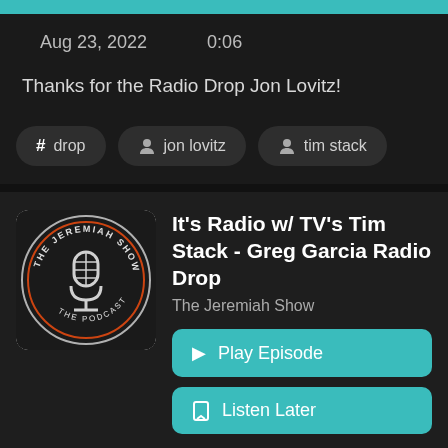Aug 23, 2022   0:06
Thanks for the Radio Drop Jon Lovitz!
# drop   person jon lovitz   person tim stack
[Figure (logo): The Jeremiah Show - The Podcast circular logo with microphone]
It's Radio w/ TV's Tim Stack - Greg Garcia Radio Drop
The Jeremiah Show
▶ Play Episode
Listen Later